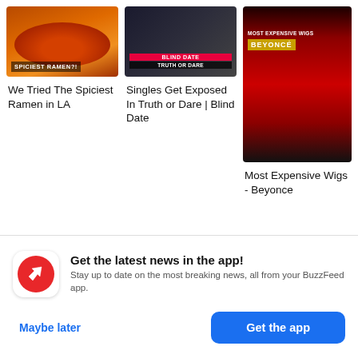[Figure (screenshot): Thumbnail of people eating spicy ramen with dark/orange background, overlay text 'SPICIEST RAMEN?!']
We Tried The Spiciest Ramen in LA
[Figure (screenshot): Thumbnail of blind date truth or dare show with dark background, overlay text 'BLIND DATE TRUTH OR DARE']
Singles Get Exposed In Truth or Dare | Blind Date
[Figure (screenshot): Thumbnail of Beyonce wig video with red curtain background, overlay text 'MOST EXPENSIVE WIGS BEYONCÉ']
Most Expensive Wigs - Beyonce
Get the latest news in the app! Stay up to date on the most breaking news, all from your BuzzFeed app.
Maybe later
Get the app